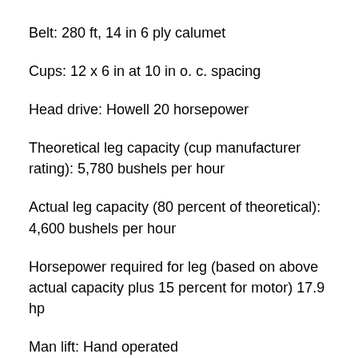Belt: 280 ft, 14 in 6 ply calumet
Cups: 12 x 6 in at 10 in o. c. spacing
Head drive: Howell 20 horsepower
Theoretical leg capacity (cup manufacturer rating): 5,780 bushels per hour
Actual leg capacity (80 percent of theoretical): 4,600 bushels per hour
Horsepower required for leg (based on above actual capacity plus 15 percent for motor) 17.9 hp
Man lift: Hand operated
Load out scale: None